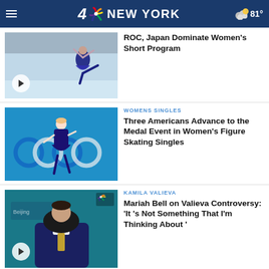NBC 4 NEW YORK — 81°
ROC, Japan Dominate Women's Short Program
[Figure (photo): Figure skater performing in blue dress on ice, with play button overlay]
WOMENS SINGLES
Three Americans Advance to the Medal Event in Women's Figure Skating Singles
[Figure (photo): Young female figure skater in blue dress performing in front of Olympic rings]
KAMILA VALIEVA
Mariah Bell on Valieva Controversy: 'It 's Not Something That I'm Thinking About '
[Figure (photo): Person wearing black mask and Team USA jacket at press conference, with play button overlay and NBC Sports bug]